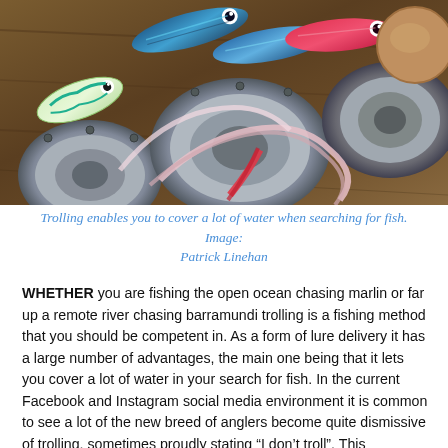[Figure (photo): Overhead photo of colorful fishing lures and tackle on a wooden boat surface, with clear/pink tubing coiled around chrome fittings]
Trolling enables you to cover a lot of water when searching for fish. Image: Patrick Linehan
WHETHER you are fishing the open ocean chasing marlin or far up a remote river chasing barramundi trolling is a fishing method that you should be competent in. As a form of lure delivery it has a large number of advantages, the main one being that it lets you cover a lot of water in your search for fish. In the current Facebook and Instagram social media environment it is common to see a lot of the new breed of anglers become quite dismissive of trolling, sometimes proudly stating “I don’t troll”. This combination of arrogance and ignorance stems from a casting dominated approach